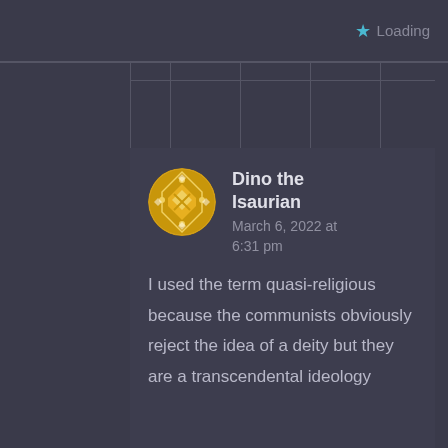Loading
Dino the Isaurian
March 6, 2022 at 6:31 pm
I used the term quasi-religious because the communists obviously reject the idea of a deity but they are a transcendental ideology